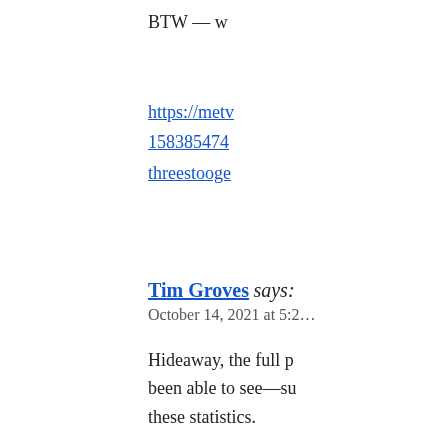BTW — w…
https://metv…
158385474…
threestooge…
Tim Groves says:
October 14, 2021 at 5:2…
Hideaway, the full p… been able to see—su… these statistics.
There are a lot of ve… people getting very … being infected with … AND being very ol…